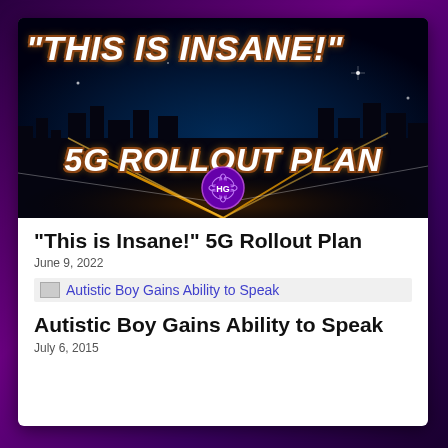[Figure (photo): Thumbnail image with dark city/highway background and bold italic text overlay reading '"This is Insane!" 5G Rollout Plan' with an HG badge logo at bottom center.]
“This is Insane!” 5G Rollout Plan
June 9, 2022
Autistic Boy Gains Ability to Speak
Autistic Boy Gains Ability to Speak
July 6, 2015